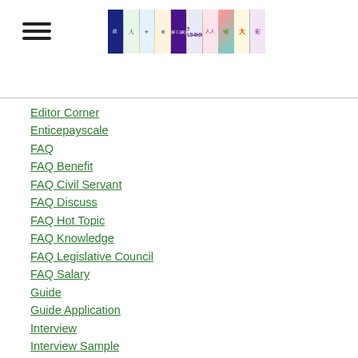[Figure (illustration): Hamburger menu icon with three horizontal lines]
[Figure (photo): Banner image composed of multiple colored photo tiles with Chinese characters and various imagery]
Editor Corner
Enticepayscale
FAQ
FAQ Benefit
FAQ Civil Servant
FAQ Discuss
FAQ Hot Topic
FAQ Knowledge
FAQ Legislative Council
FAQ Salary
Guide
Guide Application
Interview
Interview Sample
Interview Sharing
Interview Skill
Interview Skill Group
Interview Skill Individual